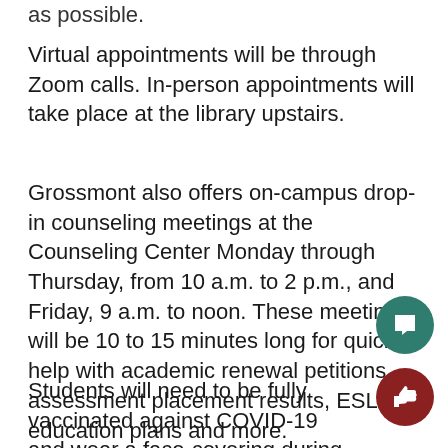as possible.
Virtual appointments will be through Zoom calls. In-person appointments will take place at the library upstairs.
Grossmont also offers on-campus drop-in counseling meetings at the Counseling Center Monday through Thursday, from 10 a.m. to 2 p.m., and Friday, 9 a.m. to noon. These meetings will be 10 to 15 minutes long for quick help with academic renewal petitions, assessment placement results, ESL education plans and more.
Students will need to be fully vaccinated against COVID-19 and wear a face-covering during in-person meetings.